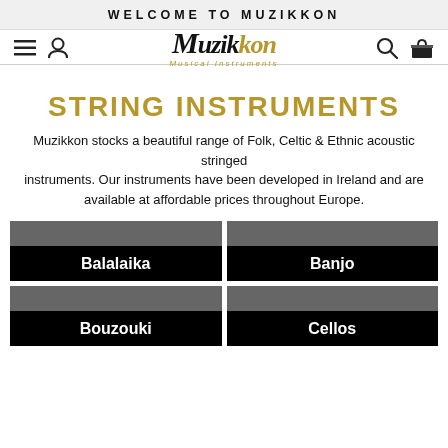WELCOME TO MUZIKKON
[Figure (logo): Muzikkon Musical Instruments logo with navigation icons (hamburger menu, user icon, search, shopping bag)]
STRING INSTRUMENTS
Muzikkon stocks a beautiful range of Folk, Celtic & Ethnic acoustic stringed instruments. Our instruments have been developed in Ireland and are available at affordable prices throughout Europe.
Balalaika
Banjo
Bouzouki
Cellos